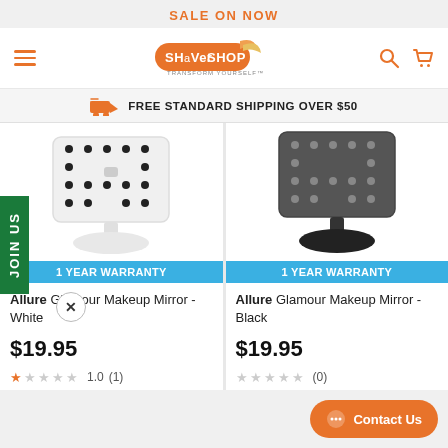SALE ON NOW
[Figure (logo): Shaver Shop logo with orange bird graphic and 'TRANSFORM YOURSELF' tagline]
FREE STANDARD SHIPPING OVER $50
[Figure (photo): Allure Glamour Makeup Mirror in White with LED lights, on white oval stand]
1 YEAR WARRANTY
Allure Glamour Makeup Mirror - White
$19.95
1.0  (1)
[Figure (photo): Allure Glamour Makeup Mirror in Black with LED lights, on black oval stand]
1 YEAR WARRANTY
Allure Glamour Makeup Mirror - Black
$19.95
(0)